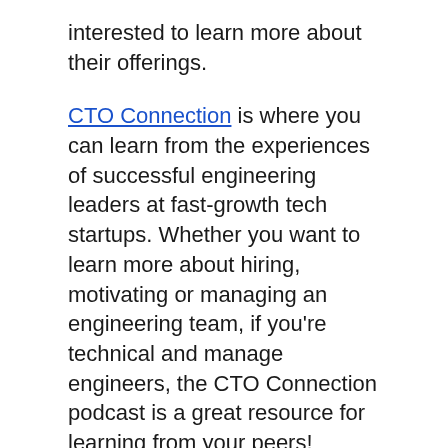interested to learn more about their offerings.
CTO Connection is where you can learn from the experiences of successful engineering leaders at fast-growth tech startups. Whether you want to learn more about hiring, motivating or managing an engineering team, if you're technical and manage engineers, the CTO Connection podcast is a great resource for learning from your peers!
If you'd like to receive new episodes as they're published, please subscribe to CTO Connection in Apple Podcasts, Google Podcasts, Spotify or wherever you get your